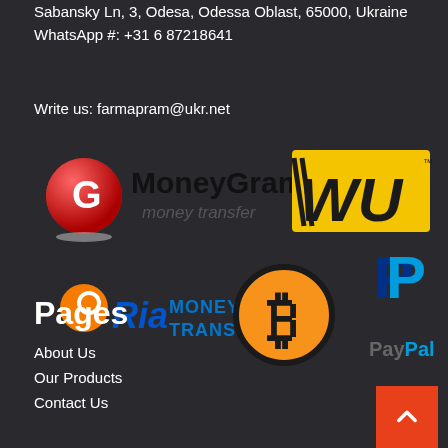Sabansky Ln, 3, Odesa, Odessa Oblast, 65000, Ukraine
WhatsApp #: +31 6 87218641
Write us: farmapram@ukr.net
[Figure (logo): Payment method logos: MoneyGram money transfer, Western Union (WU), Ria Money Transfer, Bitcoin, PayPal]
Pages
About Us
Our Products
Contact Us